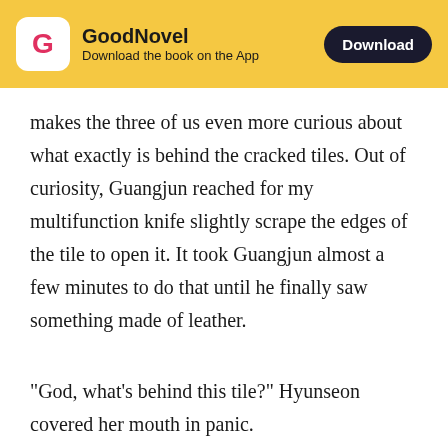GoodNovel — Download the book on the App
makes the three of us even more curious about what exactly is behind the cracked tiles. Out of curiosity, Guangjun reached for my multifunction knife slightly scrape the edges of the tile to open it. It took Guangjun almost a few minutes to do that until he finally saw something made of leather.
"God, what's behind this tile?" Hyunseon covered her mouth in panic.